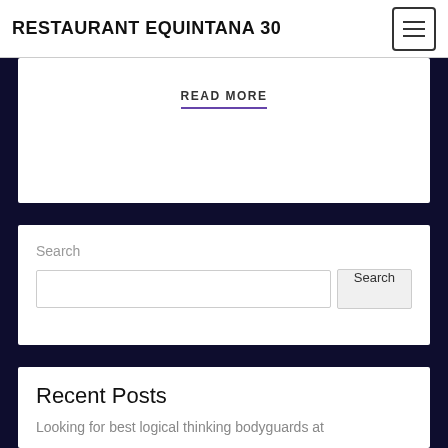RESTAURANT EQUINTANA 30
READ MORE
Search
Recent Posts
Looking for best logical thinking bodyguards at